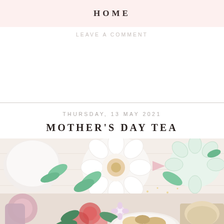HOME
LEAVE A COMMENT
THURSDAY, 13 MAY 2021
MOTHER'S DAY TEA
[Figure (photo): Overhead flat-lay photo of a Mother's Day tea party table setting with flower-shaped plates and bowls, green leaf decorations, pastel tableware with gold dots, flowers, and baked goods.]